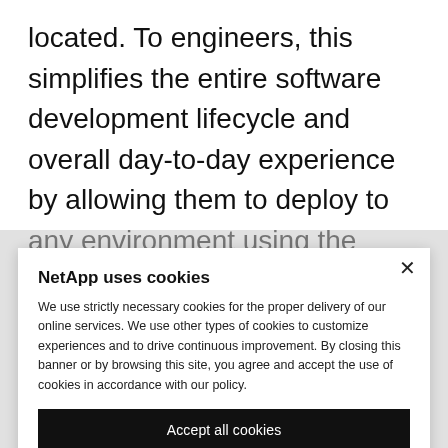located. To engineers, this simplifies the entire software development lifecycle and overall day-to-day experience by allowing them to deploy to any environment using the same methods and tooling they already use in Azure. From a security perspective, engineers can leverage
NetApp uses cookies
We use strictly necessary cookies for the proper delivery of our online services. We use other types of cookies to customize experiences and to drive continuous improvement. By closing this banner or by browsing this site, you agree and accept the use of cookies in accordance with our policy.
Accept all cookies
Cookie settings